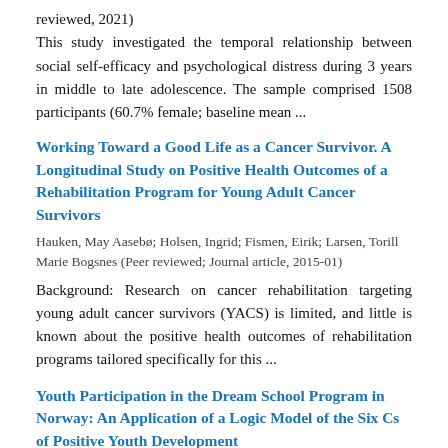reviewed, 2021)
This study investigated the temporal relationship between social self-efficacy and psychological distress during 3 years in middle to late adolescence. The sample comprised 1508 participants (60.7% female; baseline mean ...
Working Toward a Good Life as a Cancer Survivor. A Longitudinal Study on Positive Health Outcomes of a Rehabilitation Program for Young Adult Cancer Survivors
Hauken, May Aasebø; Holsen, Ingrid; Fismen, Eirik; Larsen, Torill Marie Bogsnes (Peer reviewed; Journal article, 2015-01)
Background: Research on cancer rehabilitation targeting young adult cancer survivors (YACS) is limited, and little is known about the positive health outcomes of rehabilitation programs tailored specifically for this ...
Youth Participation in the Dream School Program in Norway: An Application of a Logic Model of the Six Cs of Positive Youth Development
Larsen, Torill Marie Bogsnes; Holsen, Ingrid (Book, 2021)